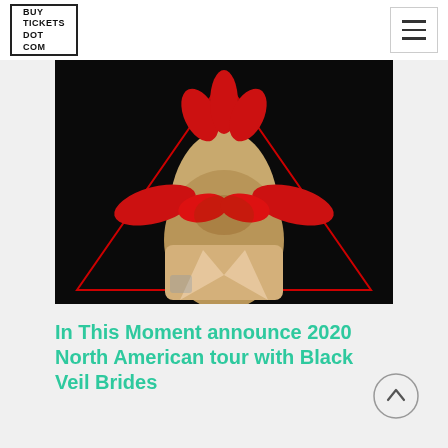BUY TICKETS DOT COM
[Figure (photo): Artistic photo of a person with blonde hair and multiple red-gloved hands covering their face, forming a triangle shape, on a black background with a red triangle outline.]
In This Moment announce 2020 North American tour with Black Veil Brides